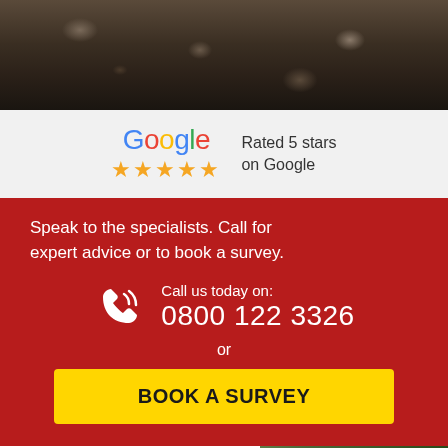[Figure (photo): Dark soil/earth close-up photo at top of page]
[Figure (logo): Google logo with 5 gold stars and text 'Rated 5 stars on Google']
Speak to the specialists. Call for expert advice or to book a survey.
Call us today on: 0800 122 3326
or
BOOK A SURVEY
Expert